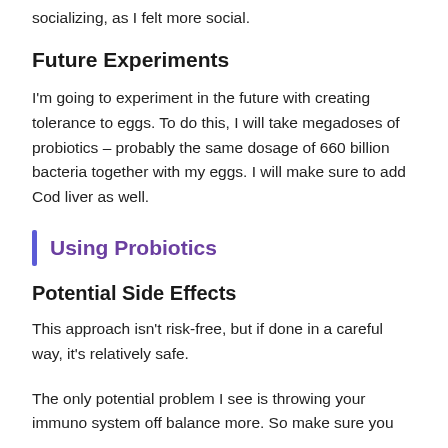thought it would be good for going out and socializing, as I felt more social.
Future Experiments
I'm going to experiment in the future with creating tolerance to eggs. To do this, I will take megadoses of probiotics – probably the same dosage of 660 billion bacteria together with my eggs. I will make sure to add Cod liver as well.
Using Probiotics
Potential Side Effects
This approach isn't risk-free, but if done in a careful way, it's relatively safe.
The only potential problem I see is throwing your immuno system off balance more. So make sure you